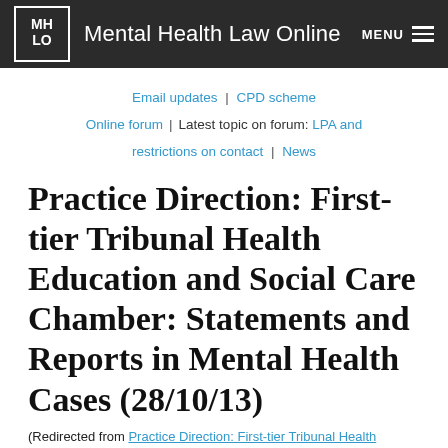Mental Health Law Online
Email updates | CPD scheme
Online forum | Latest topic on forum: LPA and restrictions on contact | News
Practice Direction: First-tier Tribunal Health Education and Social Care Chamber: Statements and Reports in Mental Health Cases (28/10/13)
(Redirected from Practice Direction: First-tier Tribunal Health Education and Social Care Chamber: Statements and Reports in Mental Health Cases)